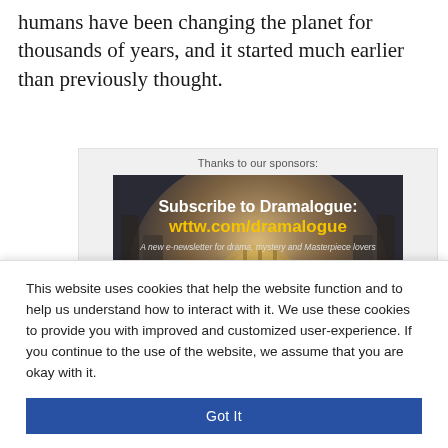humans have been changing the planet for thousands of years, and it started much earlier than previously thought.
[Figure (advertisement): Sponsor advertisement for Dramalogue: 'Subscribe to Dramalogue: wttw.com/dramalogue — A new e-newsletter for drama, mystery and Masterpiece lovers', showing two people (a woman and a man) standing in an arched hallway.]
This website uses cookies that help the website function and to help us understand how to interact with it. We use these cookies to provide you with improved and customized user-experience. If you continue to the use of the website, we assume that you are okay with it.
Got It